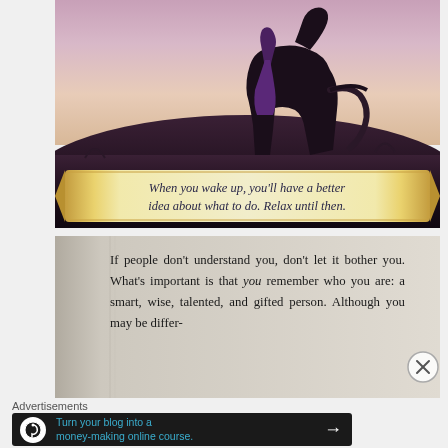[Figure (illustration): Fantasy illustration showing the silhouette of a person standing beside a horse on a hilltop at dusk/dawn, with a purple-pink sky background and dark ground. A golden ribbon banner at the bottom carries an italic quote.]
When you wake up, you'll have a better idea about what to do. Relax until then.
[Figure (photo): Close-up photo of a book page with text: 'If people don't understand you, don't let it bother you. What's important is that you remember who you are: a smart, wise, talented, and gifted person. Although you may be differ-']
If people don't understand you, don't let it bother you. What's important is that you remember who you are: a smart, wise, talented, and gifted person. Although you may be differ-
Advertisements
Turn your blog into a money-making online course.